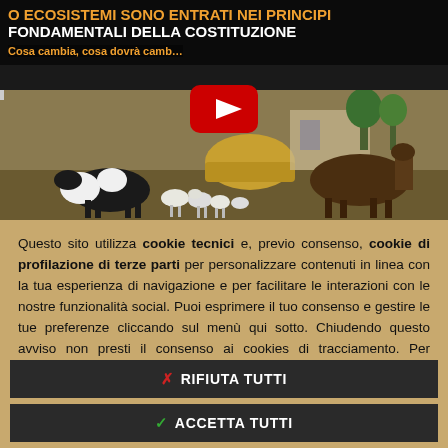[Figure (screenshot): YouTube video thumbnail showing a farm scene with cows, horses and goats. Overlay text in Italian about ecosystems entering constitutional principles. Red YouTube play button visible.]
Questo sito utilizza cookie tecnici e, previo consenso, cookie di profilazione di terze parti per personalizzare contenuti in linea con la tua esperienza di navigazione e per facilitare le interazioni con le nostre funzionalità social. Puoi esprimere il tuo consenso e gestire le tue preferenze cliccando sul menù qui sotto. Chiudendo questo avviso non presti il consenso ai cookies di tracciamento. Per saperne di più leggi l'informativa completa.
✗ RIFIUTA TUTTI
✓ ACCETTA TUTTI